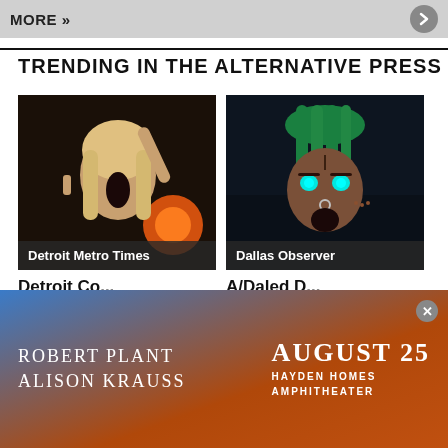MORE »
TRENDING IN THE ALTERNATIVE PRESS
[Figure (photo): Woman singing or screaming with mouth open, blonde hair, dark background with orange light glow. Labeled: Detroit Metro Times]
[Figure (photo): Animated or illustrated character with green dreadlocks, glowing cyan eyes, nose ring, facial tattoos, inside a car. Labeled: Dallas Observer]
Detroit Co...
A/Daled D...
[Figure (other): Advertisement banner: ROBERT PLANT / ALISON KRAUSS | AUGUST 25 | HAYDEN HOMES AMPHITHEATER]